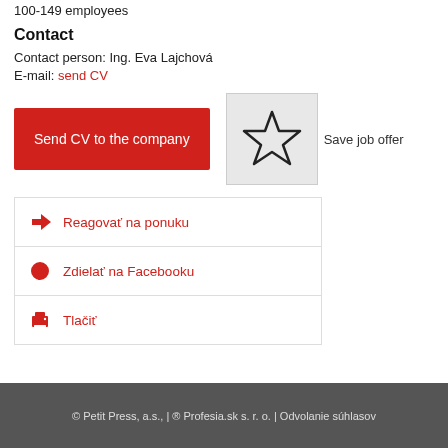100-149 employees
Contact
Contact person: Ing. Eva Lajchová
E-mail: send CV
[Figure (illustration): Red 'Send CV to the company' button and a star icon box with 'Save job offer' label]
Reagovať na ponuku
Zdielať na Facebooku
Tlačiť
© Petit Press, a.s., | ® Profesia.sk s. r. o. | Odvolanie súhlasov